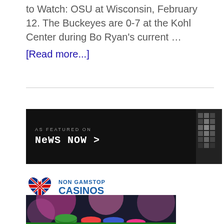to Watch: OSU at Wisconsin, February 12. The Buckeyes are 0-7 at the Kohl Center during Bo Ryan's current … [Read more...]
[Figure (screenshot): As Featured On News Now banner — black background with white pixelated text reading 'AS FEATURED ON' and 'NEWS NOW >' with a pixelated graphic on the right side]
[Figure (logo): Non Gamstop Casinos logo — UK flag heart icon on the left, text 'NON GAMSTOP CASINOS' in blue to the right]
[Figure (photo): Photo of colorful casino poker chips stacked on a green surface with blurred bokeh lights in the background]